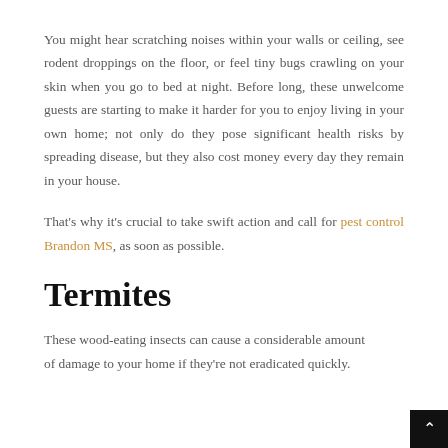You might hear scratching noises within your walls or ceiling, see rodent droppings on the floor, or feel tiny bugs crawling on your skin when you go to bed at night. Before long, these unwelcome guests are starting to make it harder for you to enjoy living in your own home; not only do they pose significant health risks by spreading disease, but they also cost money every day they remain in your house.
That's why it's crucial to take swift action and call for pest control Brandon MS, as soon as possible.
Termites
These wood-eating insects can cause a considerable amount of damage to your home if they're not eradicated quickly.